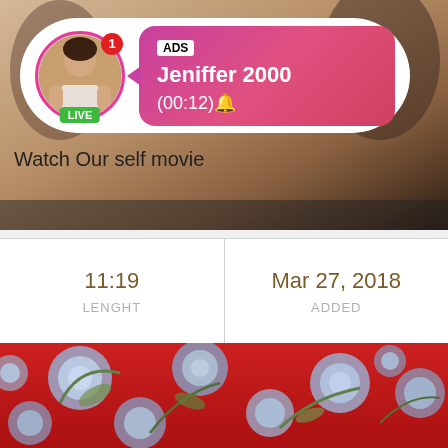[Figure (screenshot): Mobile app screenshot showing top section with a person taking a selfie in background, overlay notification card with avatar, LIVE badge, ADS label, username Jeniffer 2000, and timer (00:12)]
Watch Our self movie
| 11:19 LENGHT | Mar 27, 2018 ADDED |
| --- | --- |
[Figure (photo): Close-up photo of red floral fabric with blue/grey flower pattern]